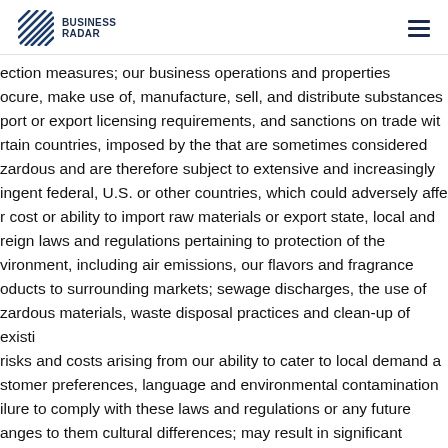BUSINESS RADAR
ection measures; our business operations and properties ocure, make use of, manufacture, sell, and distribute substances port or export licensing requirements, and sanctions on trade with tain countries, imposed by the that are sometimes considered zardous and are therefore subject to extensive and increasingly ingent federal, U.S. or other countries, which could adversely affect r cost or ability to import raw materials or export state, local and reign laws and regulations pertaining to protection of the vironment, including air emissions, our flavors and fragrance oducts to surrounding markets; sewage discharges, the use of zardous materials, waste disposal practices and clean-up of existing risks and costs arising from our ability to cater to local demand and stomer preferences, language and environmental contamination ilure to comply with these laws and regulations or any future anges to them cultural differences; may result in significant nsequences to us, including the need to close or relocate one or ore of our ‰ changes in the laws and policies that govern foreign